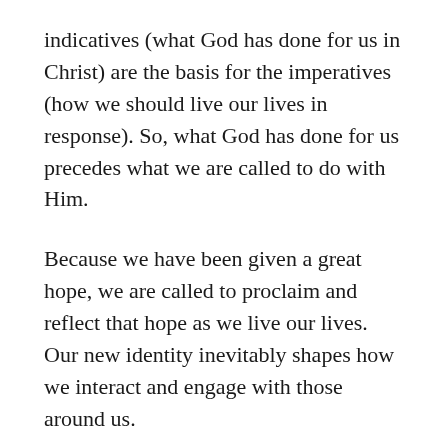indicatives (what God has done for us in Christ) are the basis for the imperatives (how we should live our lives in response). So, what God has done for us precedes what we are called to do with Him.
Because we have been given a great hope, we are called to proclaim and reflect that hope as we live our lives. Our new identity inevitably shapes how we interact and engage with those around us.
The call “To prepare your minds for action”